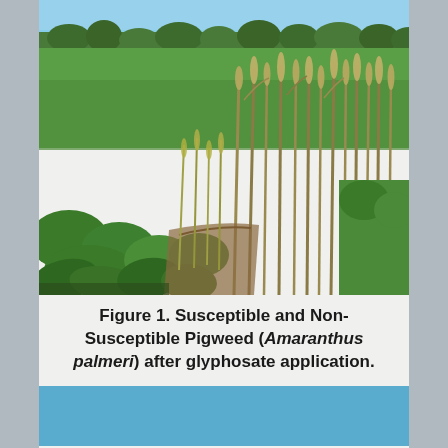[Figure (photo): Agricultural field photograph showing susceptible pigweed plants (wilted/yellowed) alongside non-susceptible Amaranthus palmeri plants (tall, green/brown upright stalks) growing among low green crop plants, with trees and blue sky visible in the background.]
Figure 1. Susceptible and Non-Susceptible Pigweed (Amaranthus palmeri) after glyphosate application.